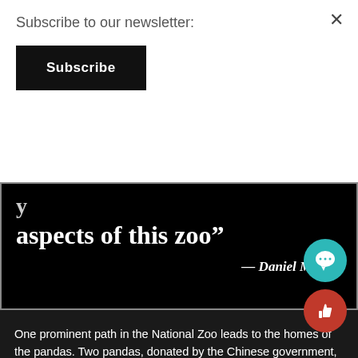Subscribe to our newsletter:
Subscribe
aspects of this zoo”
— Daniel Martha
One prominent path in the National Zoo leads to the homes of the pandas. Two pandas, donated by the Chinese government, are the most popular animals at the zoo. With the help of many volunteers and trainers, visitors can learn more about the two pandas named Mei Xiang, which means beautiful fragrance and Tian Tian, which means more and more. Soon, Bao Bao, whose name means precious, was born to both Mei Xiang and Tian Tian. Today, visitors can visit all three pandas at the Asia trail, where volunteers are stationed to answer any questions.